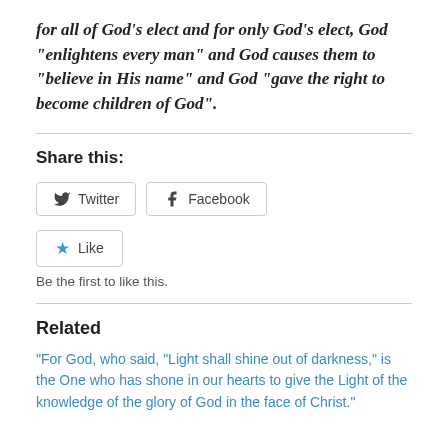for all of God’s elect and for only God’s elect, God “enlightens every man” and God causes them to “believe in His name” and God “gave the right to become children of God”.
Share this:
[Figure (other): Twitter and Facebook share buttons]
[Figure (other): Like button with star icon]
Be the first to like this.
Related
“For God, who said, “Light shall shine out of darkness,” is the One who has shone in our hearts to give the Light of the knowledge of the glory of God in the face of Christ.”